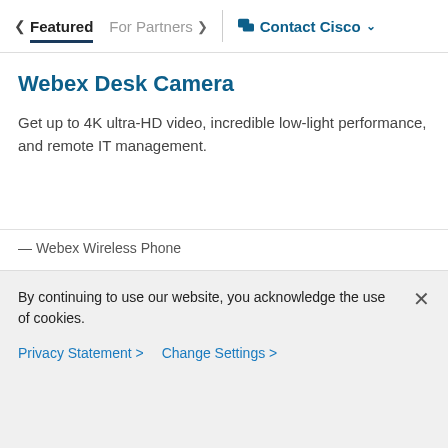< Featured   For Partners >   Contact Cisco ∨
Webex Desk Camera
Get up to 4K ultra-HD video, incredible low-light performance, and remote IT management.
— Webex Wireless Phone
By continuing to use our website, you acknowledge the use of cookies.
Privacy Statement >   Change Settings >